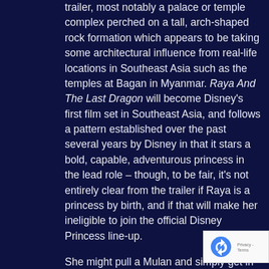trailer, most notably a palace or temple complex perched on a tall, arch-shaped rock formation which appears to be taking some architectural influence from real-life locations in Southeast Asia such as the temples at Bagan in Myanmar. Raya And The Last Dragon will become Disney's first film set in Southeast Asia, and follows a pattern established over the past several years by Disney in that it stars a bold, capable, adventurous princess in the lead role – though, to be fair, it's not entirely clear from the trailer if Raya is a princess by birth, and if that will make her ineligible to join the official Disney Princess line-up.
She might pull a Mulan and simply get in because she earned the title on her own. In the trailer's first thirty seconds, we see Raya donning the outfit of a warrior meant for stealth missions (she has an entire room of weapons, which I hope to see explored to the full) and then embarking on one such stealth mission herself.